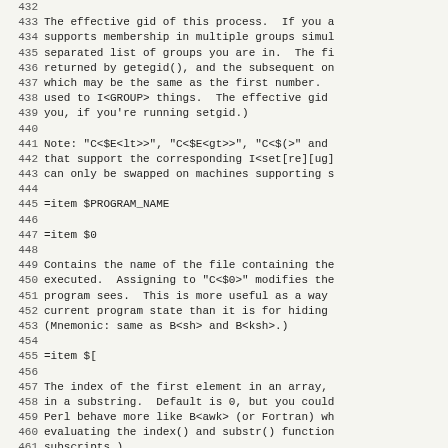432
433 The effective gid of this process.  If you a
434 supports membership in multiple groups simul
435 separated list of groups you are in.  The fi
436 returned by getegid(), and the subsequent on
437 which may be the same as the first number.
438 used to I<GROUP> things.  The effective gid
439 you, if you're running setgid.)
440
441 Note: "C<$E<lt>>", "C<$E<gt>>", "C<$(>" and
442 that support the corresponding I<set[re][ug]
443 can only be swapped on machines supporting s
444
445 =item $PROGRAM_NAME
446
447 =item $0
448
449 Contains the name of the file containing the
450 executed.  Assigning to "C<$0>" modifies the
451 program sees.  This is more useful as a way
452 current program state than it is for hiding
453 (Mnemonic: same as B<sh> and B<ksh>.)
454
455 =item $[
456
457 The index of the first element in an array,
458 in a substring.  Default is 0, but you could
459 Perl behave more like B<awk> (or Fortran) wh
460 evaluating the index() and substr() function
461 subscripts.)
462
463 As of Perl 5, assignment to "C<$[>" is treat
464